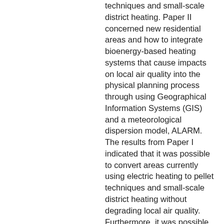techniques and small-scale district heating. Paper II concerned new residential areas and how to integrate bioenergy-based heating systems that cause impacts on local air quality into the physical planning process through using Geographical Information Systems (GIS) and a meteorological dispersion model, ALARM. The results from Paper I indicated that it was possible to convert areas currently using electric heating to pellet techniques and small-scale district heating without degrading local air quality. Furthermore, it was possible to decrease high emissions caused by firewood boilers by replacing them with pellet boilers. The results from Paper II highlighted that GIS and ALARM were advantageous for analysing local air quality characteristics when planning for new residential areas and before a residential area is built: thus, avoiding negative impacts caused by bioenergy-based combustion. In conclusion, the work procedures developed in this thesis can be used to counteract negative impacts on local air quality with increasing use of bioenergy in the heating system. Analysis of potentially negative aspects before conversion to bioenergy-based heating systems, or before bioenergy-based heating systems are installed in new residential areas, make it possible to avoid these heating systems in areas with sensitive air quality characteristics, and to increase bioenergy use